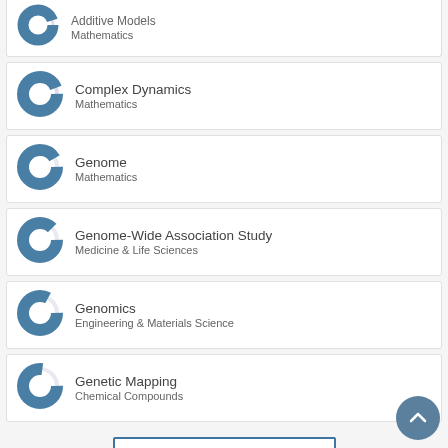Additive Models — Mathematics
Complex Dynamics — Mathematics
Genome — Mathematics
Genome-Wide Association Study — Medicine & Life Sciences
Genomics — Engineering & Materials Science
Genetic Mapping — Chemical Compounds
View full fingerprint >